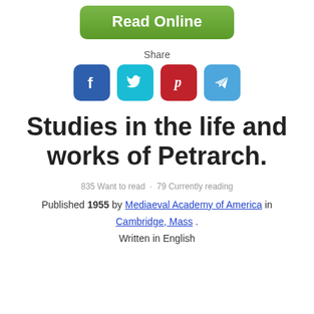[Figure (other): Green 'Read Online' button]
Share
[Figure (other): Social sharing icons: Facebook, Twitter, Pinterest, Telegram]
Studies in the life and works of Petrarch.
835 Want to read · 79 Currently reading
Published 1955 by Mediaeval Academy of America in Cambridge, Mass . Written in English